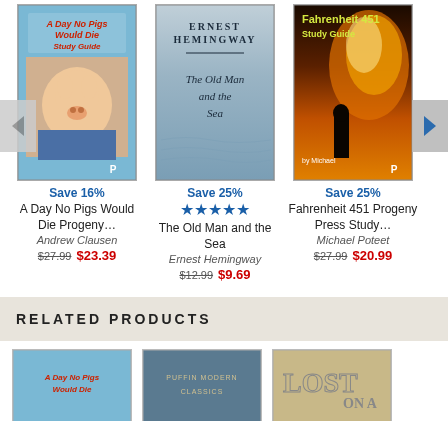[Figure (illustration): Book cover: A Day No Pigs Would Die Study Guide - blue cover with pig image]
Save 16%
A Day No Pigs Would Die Progeny…
Andrew Clausen
$27.99  $23.39
[Figure (illustration): Book cover: Ernest Hemingway The Old Man and the Sea - gray/blue sea cover]
Save 25%
★★★★★
The Old Man and the Sea
Ernest Hemingway
$12.99  $9.69
[Figure (illustration): Book cover: Fahrenheit 451 Study Guide - fiery orange/dark cover with silhouette]
Save 25%
Fahrenheit 451 Progeny Press Study…
Michael Poteet
$27.99  $20.99
RELATED PRODUCTS
[Figure (illustration): Bottom left: partial book cover A Day No Pigs Would Die]
[Figure (illustration): Bottom center: partial book cover Puffin Modern Classics]
[Figure (illustration): Bottom right: partial book cover with text LOST ON A]